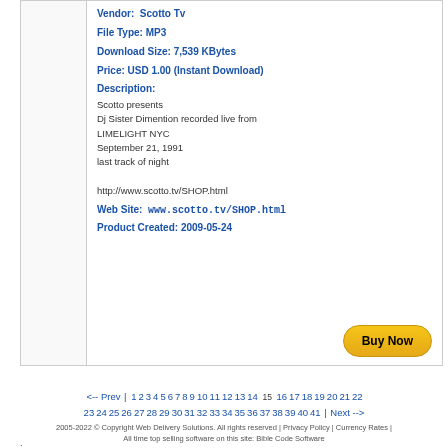Vendor: Scotto Tv
File Type: MP3
Download Size: 7,539 KBytes
Price: USD 1.00 (Instant Download)
Description:
Scotto presents
Dj Sister Dimention recorded live from
LIMELIGHT NYC
September 21, 1991
last track of night

http://www.scotto.tv/SHOP.html
Web Site:  www.scotto.tv/SHOP.html
Product Created: 2009-05-24
Buy Now
<-- Prev | 1 2 3 4 5 6 7 8 9 10 11 12 13 14 15 16 17 18 19 20 21 22 23 24 25 26 27 28 29 30 31 32 33 34 35 36 37 38 39 40 41 | Next -->
2005-2022 © Copyright Web Delivery Solutions. All rights reserved | Privacy Policy | Currency Rates | All time top selling software on this site: Bible Code Software